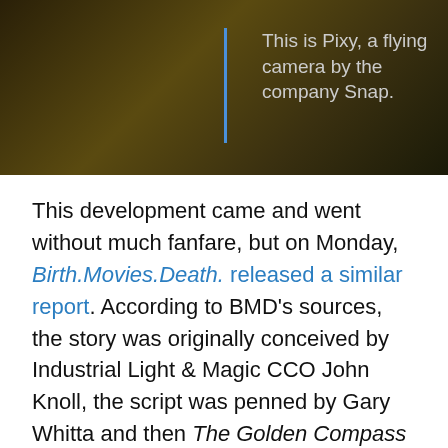[Figure (photo): Dark-toned image of Pixy, a flying camera by the company Snap, with a blue vertical bar and caption overlay on the right side.]
This is Pixy, a flying camera by the company Snap.
This development came and went without much fanfare, but on Monday, Birth.Movies.Death. released a similar report. According to BMD’s sources, the story was originally conceived by Industrial Light & Magic CCO John Knoll, the script was penned by Gary Whitta and then The Golden Compass director Chris Weitz took a pass at it.
Despite having been in the hands of three